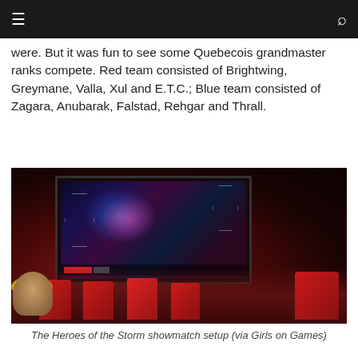[navigation bar with menu and search icons]
were. But it was fun to see some Quebecois grandmaster ranks compete. Red team consisted of Brightwing, Greymane, Valla, Xul and E.T.C.; Blue team consisted of Zagara, Anubarak, Falstad, Rehgar and Thrall.
[Figure (photo): Interior photo of a darkened room with red ambient lighting showing a large screen displaying a Heroes of the Storm match, with red gaming chairs visible and a person with blonde hair in the foreground.]
The Heroes of the Storm showmatch setup (via Girls on Games)